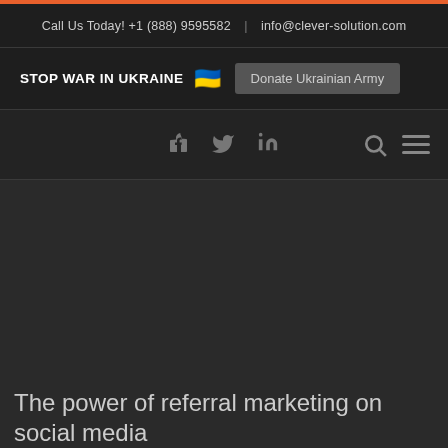Call Us Today! +1 (888) 9595582  |  info@clever-solution.com
STOP WAR IN UKRAINE  🇺🇦  Donate Ukrainian Army
[Figure (screenshot): Navigation bar with social media icons (Facebook, Twitter, LinkedIn), a search icon, and a hamburger menu icon on a dark background.]
[Figure (photo): Dark hero image area for a blog post, mostly dark/black background.]
The power of referral marketing on social media